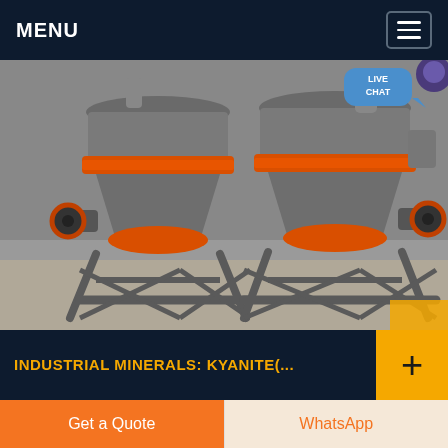MENU
[Figure (photo): Two industrial cone crusher machines with orange/red rings and dark metal bodies mounted on grey steel frames, photographed in a factory setting.]
INDUSTRIAL MINERALS: KYANITE(…
02/11/2017 · KYANITE (STONE) Kyanite, whose name derives from the Greek word kuanos sometimes referred to as "kyanos", meaning
Get a Quote
WhatsApp